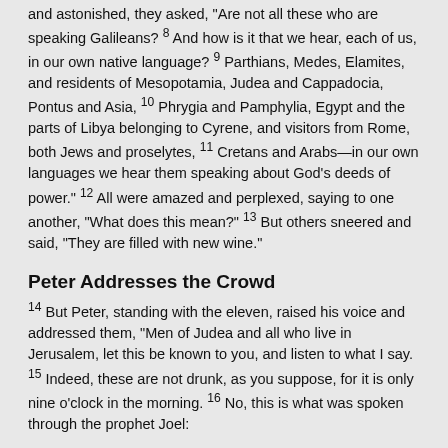and astonished, they asked, 'Are not all these who are speaking Galileans? 8 And how is it that we hear, each of us, in our own native language? 9 Parthians, Medes, Elamites, and residents of Mesopotamia, Judea and Cappadocia, Pontus and Asia, 10 Phrygia and Pamphylia, Egypt and the parts of Libya belonging to Cyrene, and visitors from Rome, both Jews and proselytes, 11 Cretans and Arabs—in our own languages we hear them speaking about God's deeds of power." 12 All were amazed and perplexed, saying to one another, "What does this mean?" 13 But others sneered and said, "They are filled with new wine."
Peter Addresses the Crowd
14 But Peter, standing with the eleven, raised his voice and addressed them, "Men of Judea and all who live in Jerusalem, let this be known to you, and listen to what I say. 15 Indeed, these are not drunk, as you suppose, for it is only nine o’clock in the morning. 16 No, this is what was spoken through the prophet Joel:
17 ‘In the last days it will be, God declares,
that I will pour out my Spirit upon all flesh,
    and your sons and your daughters shall prophesy,